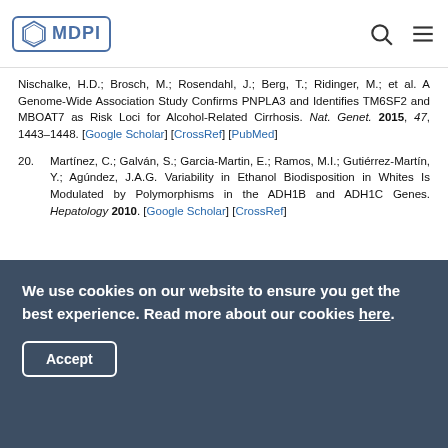MDPI
Nischalke, H.D.; Brosch, M.; Rosendahl, J.; Berg, T.; Ridinger, M.; et al. A Genome-Wide Association Study Confirms PNPLA3 and Identifies TM6SF2 and MBOAT7 as Risk Loci for Alcohol-Related Cirrhosis. Nat. Genet. 2015, 47, 1443–1448. [Google Scholar] [CrossRef] [PubMed]
20. Martínez, C.; Galván, S.; Garcia-Martin, E.; Ramos, M.I.; Gutiérrez-Martín, Y.; Agúndez, J.A.G. Variability in Ethanol Biodisposition in Whites Is Modulated by Polymorphisms in the ADH1B and ADH1C Genes. Hepatology 2010. [Google Scholar] [CrossRef]
We use cookies on our website to ensure you get the best experience. Read more about our cookies here.
Accept